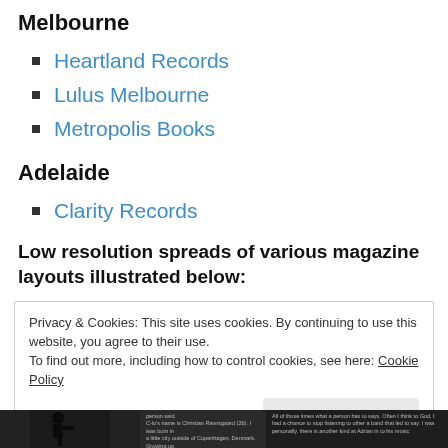Melbourne
Heartland Records
Lulus Melbourne
Metropolis Books
Adelaide
Clarity Records
Low resolution spreads of various magazine layouts illustrated below:
Privacy & Cookies: This site uses cookies. By continuing to use this website, you agree to their use.
To find out more, including how to control cookies, see here: Cookie Policy
Close and accept
[Figure (photo): Low resolution thumbnail strip of various magazine layout spreads at the bottom of the page]